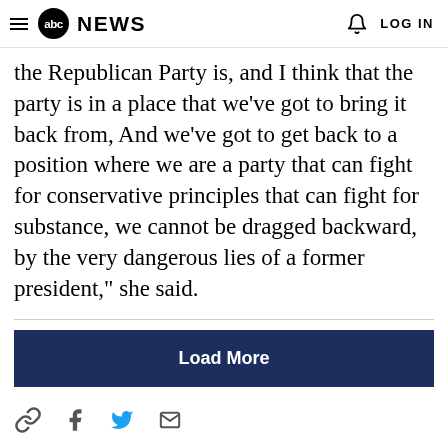abc NEWS  LOG IN
the Republican Party is, and I think that the party is in a place that we've got to bring it back from, And we've got to get back to a position where we are a party that can fight for conservative principles that can fight for substance, we cannot be dragged backward, by the very dangerous lies of a former president," she said.
[Figure (other): Load More button — dark navy blue rectangular button with white bold text 'Load More']
[Figure (other): Social share icons row: link/chain icon, Facebook icon, Twitter bird icon, email/envelope icon]